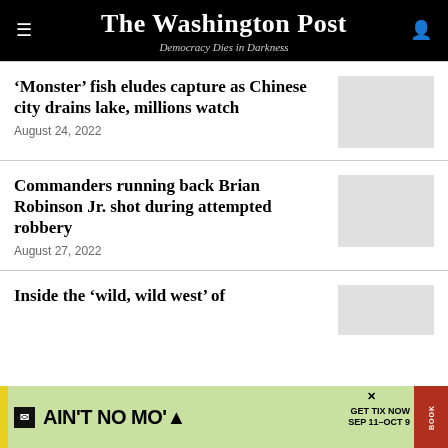The Washington Post — Democracy Dies in Darkness
'Monster' fish eludes capture as Chinese city drains lake, millions watch
August 24, 2022
Commanders running back Brian Robinson Jr. shot during attempted robbery
August 27, 2022
Inside the 'wild, wild west' of
[Figure (photo): Advertisement banner for 'Ain't No Mo'' show, GET TIX NOW SEP 11–OCT 9]